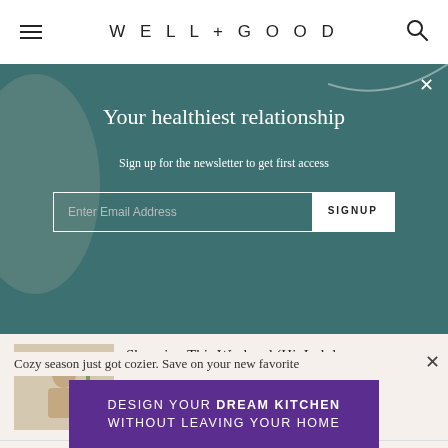WELL+GOOD
Your healthiest relationship
Sign up for the newsletter to get first access
Enter Email Address  SIGNUP
Shopping This Weekend (Hi, Lululemon,...
Cozy season just got cozier. Save on your new favorite
[Figure (illustration): Purple advertisement banner reading DESIGN YOUR DREAM KITCHEN WITHOUT LEAVING YOUR HOME]